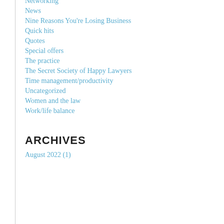Networking
News
Nine Reasons You're Losing Business
Quick hits
Quotes
Special offers
The practice
The Secret Society of Happy Lawyers
Time management/productivity
Uncategorized
Women and the law
Work/life balance
ARCHIVES
August 2022 (1)